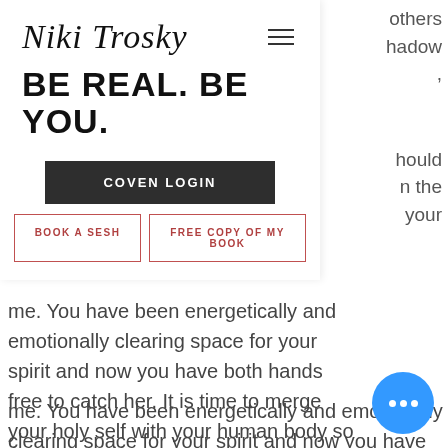others
hadow
,
should
n the
your
[Figure (screenshot): Navigation overlay panel on Niki Trosky website showing logo in script font, tagline BE REAL. BE YOU., a dark COVEN LOGIN button, and two outlined buttons: BOOK A SESH and FREE COPY OF MY BOOK]
me. You have been energetically and emotionally clearing space for your spirit and now you have both hands free to catch her. It is time to merge your holy self with your human body so you can activate your free will, access the power of your eternal nature and reclaim your divine inheritance all while feeling nourished, supported and held.
AS YOU READ THIS, SOMETHING IS STIRRING, the flutter or faint memory, YOU calling you back! There is no more time to waste Queen.  The earth